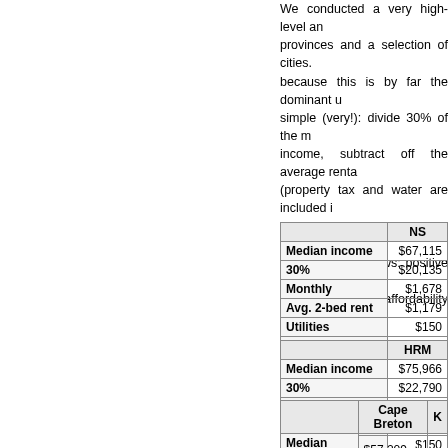We conducted a very high-level analysis of provinces and a selection of cities. We focus because this is by far the dominant use. Formula simple (very!): divide 30% of the median income, subtract off the average rent... (property tax and water are included in rent, included, so to play it safe, we assume... over. Great news: positive balance = hoorah, there's no affordability issue!
|  | NS |
| --- | --- |
| Median income | $67,115 |
| 30% | $20,135 |
| Monthly | $1,678 |
| Avg. 2-bed rent | $1,179 |
| Utilities | $150 |
| Balance | $349 |
|  | HRM |
| --- | --- |
| Median income | $75,966 |
| 30% | $22,790 |
| Monthly | $1,899 |
| Avg. 2-bed rent | $1,254 |
| Utilities | $150 |
| Balance | $495 |
|  | Cape Breton | K |
| --- | --- | --- |
| Median income | $57,209 |  |
| 30% | $17,163 |  |